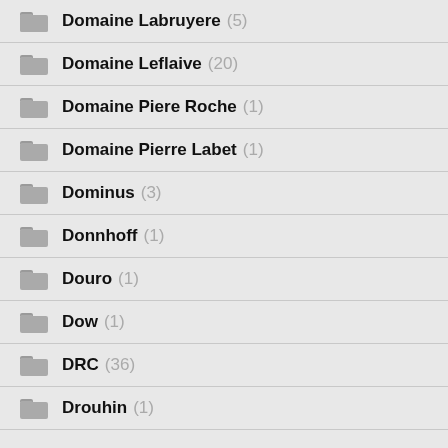Domaine Labruyere (5)
Domaine Leflaive (20)
Domaine Piere Roche (1)
Domaine Pierre Labet (1)
Dominus (3)
Donnhoff (1)
Douro (1)
Dow (1)
DRC (36)
Drouhin (1)